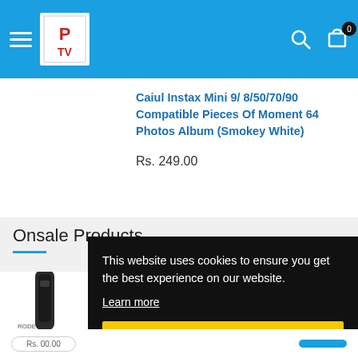[Figure (screenshot): Website header with blue background, hamburger menu icon, logo box with 'PV' text in red, and search/bag icons on the right with a badge showing 0]
Caiul Instax Mini 9/ 8/50/70/90 Compatible Pieces Of Moment 64 Photos Album (Smokey White)
Rs. 249.00
Onsale Products
This website uses cookies to ensure you get the best experience on our website.
Learn more
Got it!